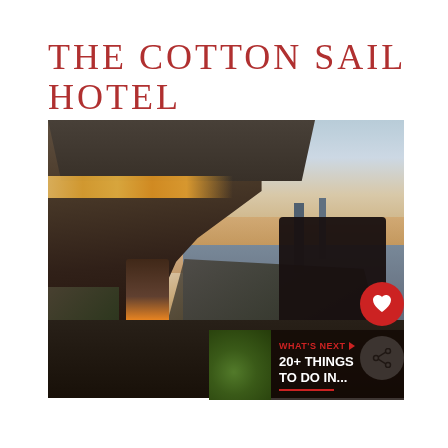THE COTTON SAIL HOTEL
[Figure (photo): Rooftop terrace of The Cotton Sail Hotel at sunset, showing outdoor dining area with a decorative lantern in the foreground, hotel building with warm lighting on the left, and harbor/waterfront with industrial chimneys visible in the background under a pastel sky.]
WHAT'S NEXT → 20+ THINGS TO DO IN...